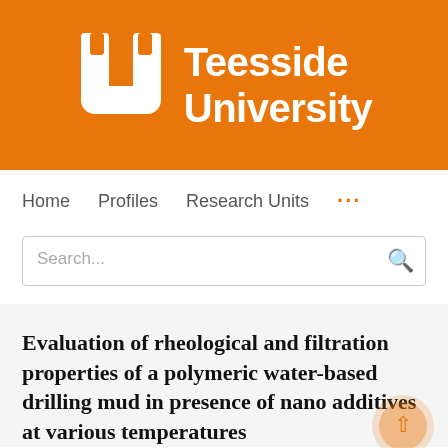[Figure (logo): Teesside University logo — white U-shape icon on orange background with 'Teesside University' text in white]
Home   Profiles   Research Units   ...
Search...
Evaluation of rheological and filtration properties of a polymeric water-based drilling mud in presence of nano additives at various temperatures